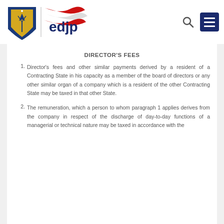[Figure (logo): edjp logo with Indonesian flag motif and shield emblem]
DIRECTOR'S FEES
1. Director's fees and other similar payments derived by a resident of a Contracting State in his capacity as a member of the board of directors or any other similar organ of a company which is a resident of the other Contracting State may be taxed in that other State.
2. The remuneration, which a person to whom paragraph 1 applies derives from the company in respect of the discharge of day-to-day functions of a managerial or technical nature may be taxed in accordance with the